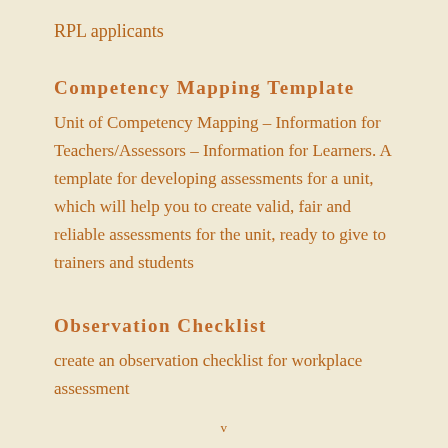RPL applicants
Competency Mapping Template
Unit of Competency Mapping – Information for Teachers/Assessors – Information for Learners. A template for developing assessments for a unit, which will help you to create valid, fair and reliable assessments for the unit, ready to give to trainers and students
Observation Checklist
create an observation checklist for workplace assessment
v